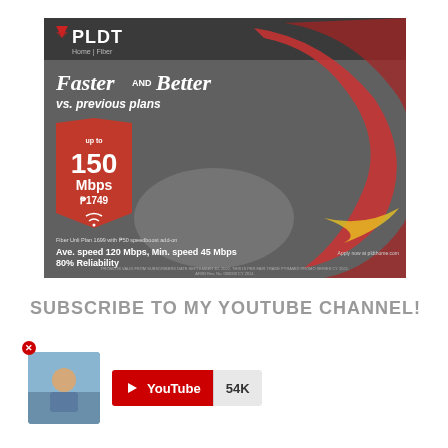[Figure (illustration): PLDT Home Fiber advertisement showing 'Faster AND Better vs. previous plans' with up to 150 Mbps at P1749, showing a couple viewed from above with red swirl design. Fiber Unli Plan 1699 with P50 speedboost add-on. Ave. speed 120 Mbps, Min. speed 45 Mbps, 80% Reliability. Apply now at pldthome.com]
SUBSCRIBE TO MY YOUTUBE CHANNEL!
[Figure (screenshot): YouTube channel subscribe button showing avatar photo of a person, YouTube red button with play icon, and subscriber count of 54K]